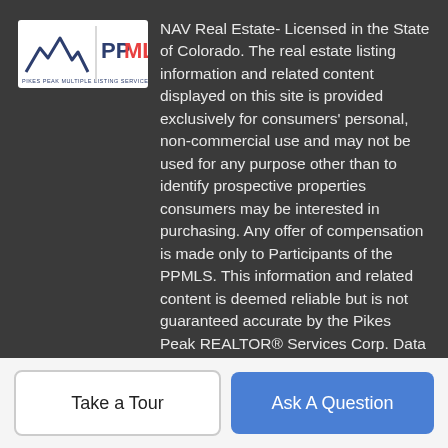NAV Real Estate- Licensed in the State of Colorado. The real estate listing information and related content displayed on this site is provided exclusively for consumers' personal, non-commercial use and may not be used for any purpose other than to identify prospective properties consumers may be interested in purchasing. Any offer of compensation is made only to Participants of the PPMLS. This information and related content is deemed reliable but is not guaranteed accurate by the Pikes Peak REALTOR® Services Corp. Data last updated 2022-08-30T15:41:13.18.
© 2022 Information and Real Estate Services, LLC. IDX information is provided exclusively for consumers' personal, non-commercial use and may not be used for any purpose other than to identify prospective properties consumers may be interested in
Take a Tour | Ask A Question